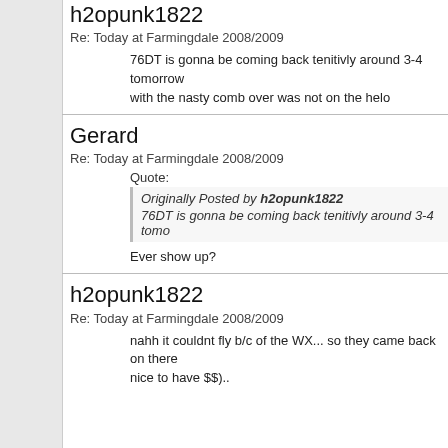h2opunk1822
Re: Today at Farmingdale 2008/2009
76DT is gonna be coming back tenitivly around 3-4 tomorrow with the nasty comb over was not on the helo
Gerard
Re: Today at Farmingdale 2008/2009
Quote:
Originally Posted by h2opunk1822
76DT is gonna be coming back tenitivly around 3-4 tomo
Ever show up?
h2opunk1822
Re: Today at Farmingdale 2008/2009
nahh it couldnt fly b/c of the WX... so they came back on there nice to have $$)..